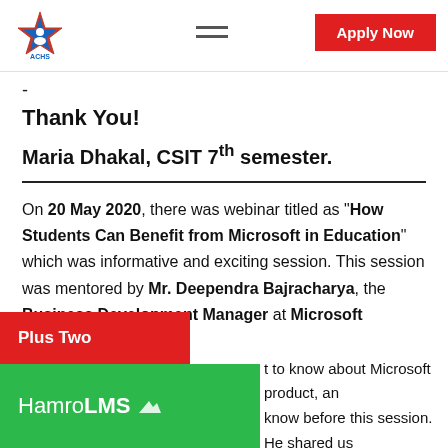ACHS — Apply Now
-
Thank You!
Maria Dhakal, CSIT 7th semester.
On 20 May 2020, there was webinar titled as "How Students Can Benefit from Microsoft in Education" which was informative and exciting session. This session was mentored by Mr. Deependra Bajracharya, the Business Development Manager at Microsoft Operation Plus Two
t to know about Microsoft product, an know before this session. He shared us